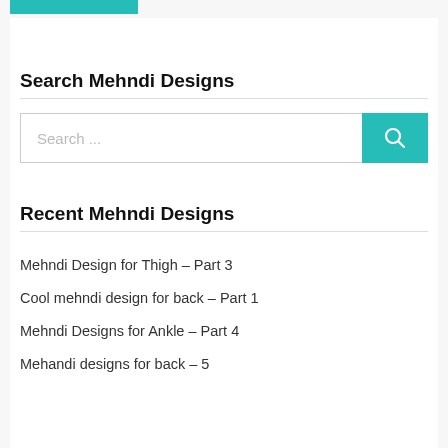[Figure (other): Teal/turquoise colored bar at top of page (logo or banner element)]
Search Mehndi Designs
[Figure (other): Search input box with teal search button containing magnifying glass icon]
Recent Mehndi Designs
Mehndi Design for Thigh – Part 3
Cool mehndi design for back – Part 1
Mehndi Designs for Ankle – Part 4
Mehandi designs for back – 5